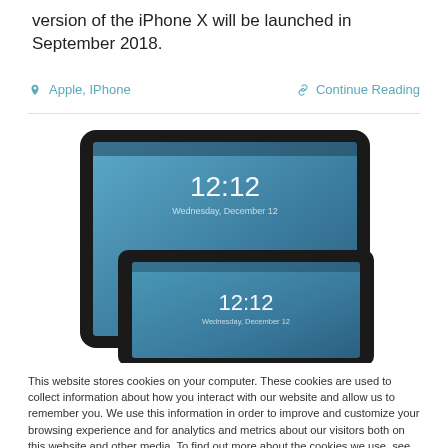version of the iPhone X will be launched in September 2018.
Apple, IPhone    Continue Reading
[Figure (photo): Two Apple iPad tablets displaying a lock screen showing the time 12:12, one larger iPad behind a smaller one, against a white background.]
This website stores cookies on your computer. These cookies are used to collect information about how you interact with our website and allow us to remember you. We use this information in order to improve and customize your browsing experience and for analytics and metrics about our visitors both on this website and other media. To find out more about the cookies we use, see our Privacy Policy
Accept